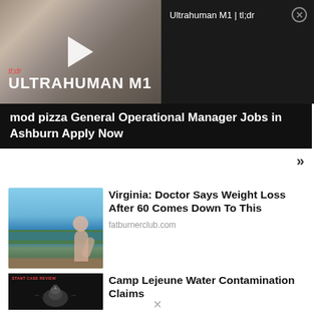[Figure (screenshot): Video thumbnail showing Ultrahuman M1 tl;dr product video with play button, dark right panel showing title 'Ultrahuman M1 | tl;dr' and close button]
mod pizza General Operational Manager Jobs in Ashburn Apply Now
»
[Figure (photo): Woman in bikini sitting on a dock by a lake, used as thumbnail for weight loss article]
Virginia: Doctor Says Weight Loss After 60 Comes Down To This
fatburnerclub.com
[Figure (screenshot): Dark background image with red text 'STANT CASE REVIEW' and eagle illustration for Camp Lejeune article]
Camp Lejeune Water Contamination Claims